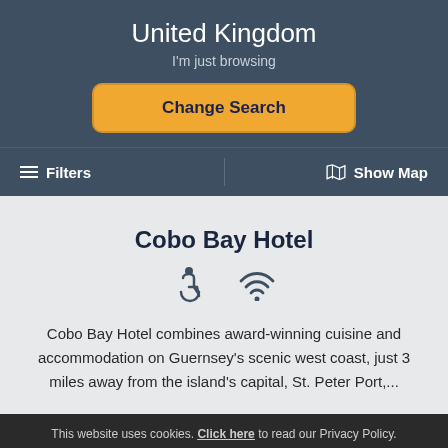United Kingdom
I'm just browsing
Change Search
≡  Filters
Show Map
Cobo Bay Hotel
[Figure (infographic): Accessibility and WiFi icons]
Cobo Bay Hotel combines award-winning cuisine and accommodation on Guernsey's scenic west coast, just 3 miles away from the island's capital, St. Peter Port,...
This website uses cookies. Click here to read our Privacy Policy. If that's okay with you, just keep browsing. CLOSE